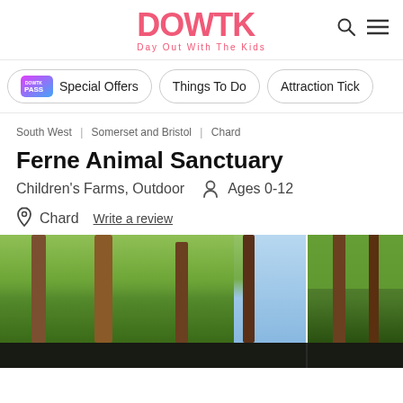DOWTK Day Out With The Kids
Special Offers
Things To Do
Attraction Tick...
South West | Somerset and Bristol | Chard
Ferne Animal Sanctuary
Children's Farms, Outdoor   Ages 0-12
Chard   Write a review
[Figure (photo): Woodland scene with tall trees and green canopy against a partly cloudy sky, split into two panels side by side]